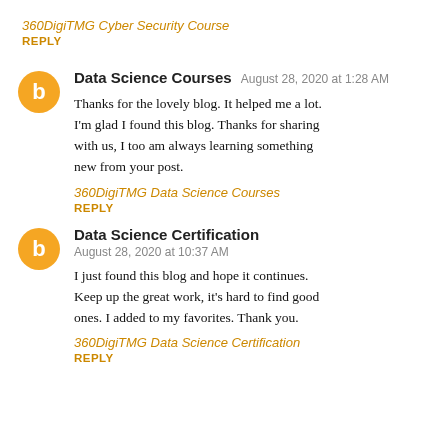360DigiTMG Cyber Security Course
REPLY
Data Science Courses  August 28, 2020 at 1:28 AM
Thanks for the lovely blog. It helped me a lot. I'm glad I found this blog. Thanks for sharing with us, I too am always learning something new from your post.
360DigiTMG Data Science Courses
REPLY
Data Science Certification  August 28, 2020 at 10:37 AM
I just found this blog and hope it continues. Keep up the great work, it's hard to find good ones. I added to my favorites. Thank you.
360DigiTMG Data Science Certification
REPLY